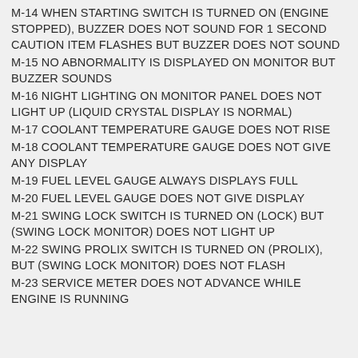M-14 WHEN STARTING SWITCH IS TURNED ON (ENGINE STOPPED), BUZZER DOES NOT SOUND FOR 1 SECOND CAUTION ITEM FLASHES BUT BUZZER DOES NOT SOUND
M-15 NO ABNORMALITY IS DISPLAYED ON MONITOR BUT BUZZER SOUNDS
M-16 NIGHT LIGHTING ON MONITOR PANEL DOES NOT LIGHT UP (LIQUID CRYSTAL DISPLAY IS NORMAL)
M-17 COOLANT TEMPERATURE GAUGE DOES NOT RISE
M-18 COOLANT TEMPERATURE GAUGE DOES NOT GIVE ANY DISPLAY
M-19 FUEL LEVEL GAUGE ALWAYS DISPLAYS FULL
M-20 FUEL LEVEL GAUGE DOES NOT GIVE DISPLAY
M-21 SWING LOCK SWITCH IS TURNED ON (LOCK) BUT (SWING LOCK MONITOR) DOES NOT LIGHT UP
M-22 SWING PROLIX SWITCH IS TURNED ON (PROLIX), BUT (SWING LOCK MONITOR) DOES NOT FLASH
M-23 SERVICE METER DOES NOT ADVANCE WHILE ENGINE IS RUNNING